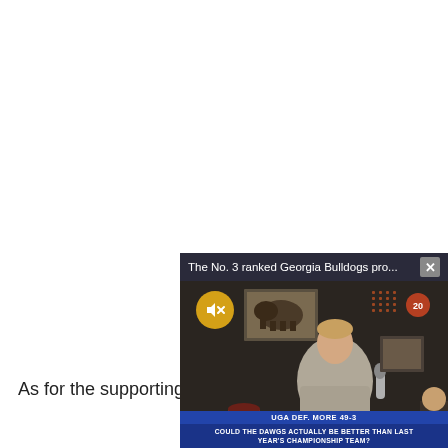As for the supporting c…
[Figure (screenshot): Floating video player overlay showing a sports commentator in a studio. Title bar reads 'The No. 3 ranked Georgia Bulldogs pro…' with a close (X) button. A yellow mute button is visible. Lower thirds show 'UGA DEF. MORE 49-3' on a blue bar and 'COULD THE DAWGS ACTUALLY BE BETTER THAN LAST YEAR'S CHAMPIONSHIP TEAM?' on a darker blue bar.]